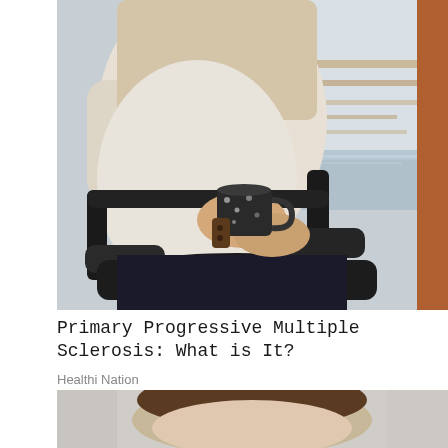[Figure (photo): A person in a wheelchair viewed from the torso down, holding a mug with both hands. The wheelchair has black armrests and a dark cushioned seat. Background shows an outdoor scene with wooden dock or pier elements.]
Primary Progressive Multiple Sclerosis: What is It?
Healthi Nation
[Figure (photo): Partial view of a person's head and upper body, appearing to be lying down or reclining. Light background.]